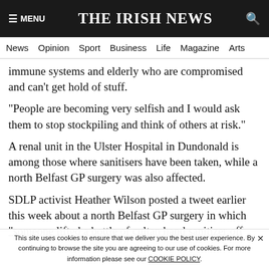≡ MENU   THE IRISH NEWS   🔍
News  Opinion  Sport  Business  Life  Magazine  Arts
immune systems and elderly who are compromised and can't get hold of stuff.
"People are becoming very selfish and I would ask them to stop stockpiling and think of others at risk."
A renal unit in the Ulster Hospital in Dundonald is among those where sanitisers have been taken, while a north Belfast GP surgery was also affected.
SDLP activist Heather Wilson posted a tweet earlier this week about a north Belfast GP surgery in which "someone lifted a bottle of cultan hand sanitizer off
This site uses cookies to ensure that we deliver you the best user experience. By continuing to browse the site you are agreeing to our use of cookies. For more information please see our COOKIE POLICY.